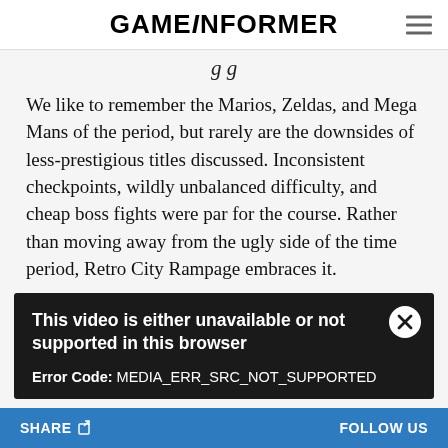GAMEINFORMER
g g
We like to remember the Marios, Zeldas, and Mega Mans of the period, but rarely are the downsides of less-prestigious titles discussed. Inconsistent checkpoints, wildly unbalanced difficulty, and cheap boss fights were par for the course. Rather than moving away from the ugly side of the time period, Retro City Rampage embraces it.
[Figure (screenshot): Video error overlay on dark background showing: 'This video is either unavailable or not supported in this browser' with close button (X) and Error Code: MEDIA_ERR_SRC_NOT_SUPPORTED]
SHARE  FOLLOW US